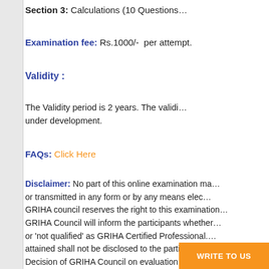Section 3: Calculations (10 Questions…
Examination fee: Rs.1000/- per attempt.
Validity :
The Validity period is 2 years. The validity … under development.
FAQs: Click Here
Disclaimer: No part of this online examination ma… or transmitted in any form or by any means elec… GRIHA council reserves the right to this examination… GRIHA Council will inform the participants whether … or 'not qualified' as GRIHA Certified Professional. … attained shall not be disclosed to the participants. … Decision of GRIHA Council on evaluation of the e… deemed final.
WRITE TO US